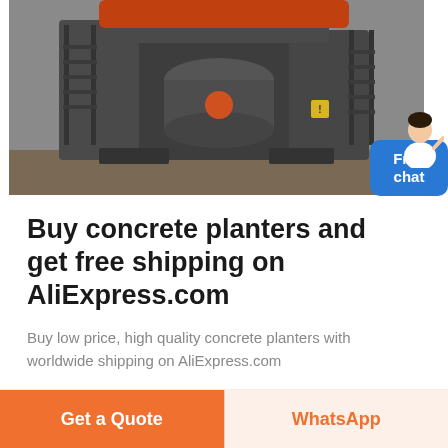[Figure (photo): Industrial concrete crusher/planter machine in a warehouse, large gray heavy machinery with orange top component, photographed from slight angle.]
Buy concrete planters and get free shipping on AliExpress.com
Buy low price, high quality concrete planters with worldwide shipping on AliExpress.com